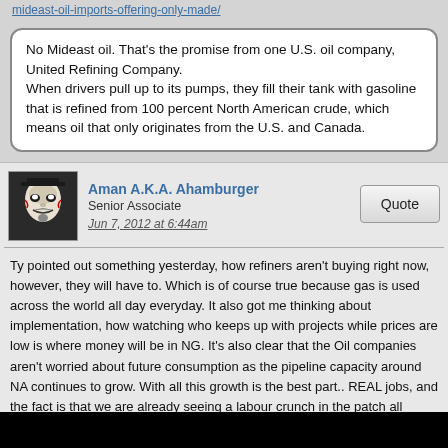mideast-oil-imports-offering-only-made/
No Mideast oil. That's the promise from one U.S. oil company, United Refining Company. When drivers pull up to its pumps, they fill their tank with gasoline that is refined from 100 percent North American crude, which means oil that only originates from the U.S. and Canada.
Aman A.K.A. Ahamburger
Senior Associate
Jun 7, 2012 at 6:44am
Quote
Ty pointed out something yesterday, how refiners aren't buying right now, however, they will have to. Which is of course true because gas is used across the world all day everyday. It also got me thinking about implementation, how watching who keeps up with projects while prices are low is where money will be in NG. It's also clear that the Oil companies aren't worried about future consumption as the pipeline capacity around NA continues to grow. With all this growth is the best part.. REAL jobs, and the fact is that we are already seeing a labour crunch in the patch all across NA, jobs that pay 65k a year+. Don't believe me? There was a new study recently that found oil patch workers were likely to be found in the top 1%. 😎